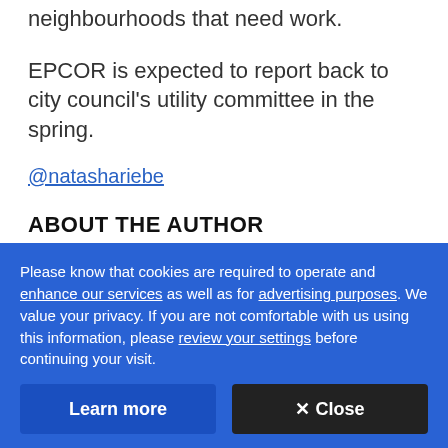neighbourhoods that need work.
EPCOR is expected to report back to city council's utility committee in the spring.
@natashariebe
ABOUT THE AUTHOR
Please know that cookies are required to operate and enhance our services as well as for advertising purposes. We value your privacy. If you are not comfortable with us using this information, please review your settings before continuing your visit.